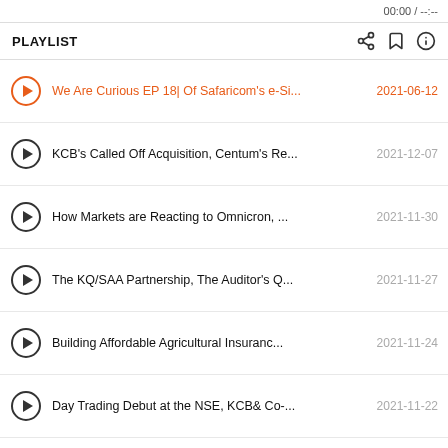00:00 / --:--
PLAYLIST
We Are Curious EP 18| Of Safaricom's e-Si... 2021-06-12
KCB's Called Off Acquisition, Centum's Re... 2021-12-07
How Markets are Reacting to Omnicron, ... 2021-11-30
The KQ/SAA Partnership, The Auditor's Q... 2021-11-27
Building Affordable Agricultural Insuranc... 2021-11-24
Day Trading Debut at the NSE, KCB& Co-... 2021-11-22
Upcoming Events